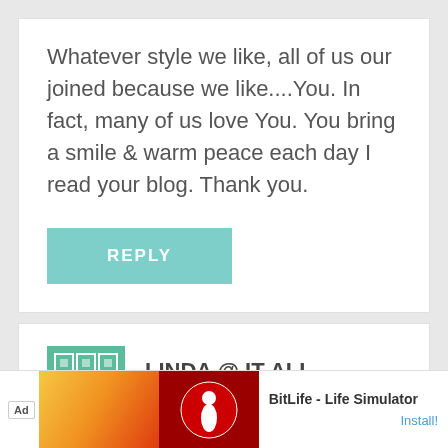Whatever style we like, all of us our joined because we like....You. In fact, many of us love You. You bring a smile & warm peace each day I read your blog. Thank you.
REPLY
LINDA @ IT ALL STARTED WITH PAINT
May 21, 2013 at 5:24 pm
Do I see a BH&G feature in your future? What am
[Figure (screenshot): Advertisement banner: BitLife - Life Simulator with Install button]